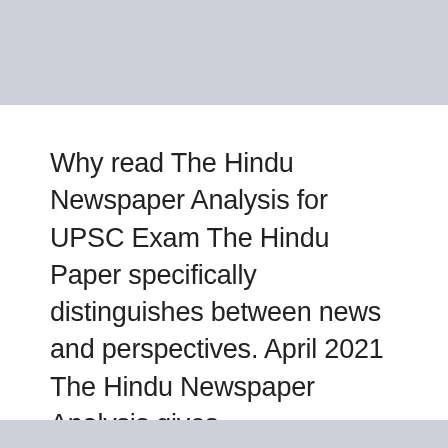Why read The Hindu Newspaper Analysis for UPSC Exam The Hindu Paper specifically distinguishes between news and perspectives. April 2021 The Hindu Newspaper Analysis gives ...
Read more